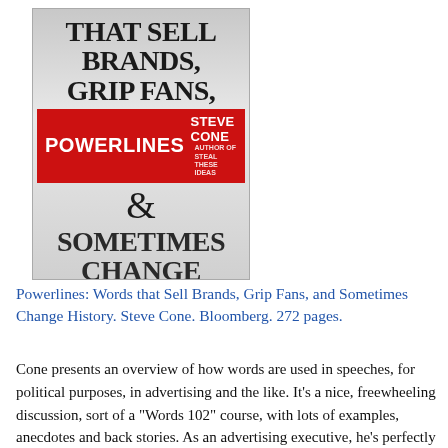[Figure (illustration): Book cover of 'Powerlines: Words that Sell Brands, Grip Fans, & Sometimes Change History' by Steve Cone, published by Bloomberg. Cover shows large bold text on a gray gradient background with a red bar containing the title 'Powerlines' and author name 'Steve Cone'.]
Powerlines: Words that Sell Brands, Grip Fans, and Sometimes Change History. Steve Cone. Bloomberg. 272 pages.
Cone presents an overview of how words are used in speeches, for political purposes, in advertising and the like. It's a nice, freewheeling discussion, sort of a "Words 102" course, with lots of examples, anecdotes and back stories. As an advertising executive, he's perfectly positioned to relate ways that combinations of words